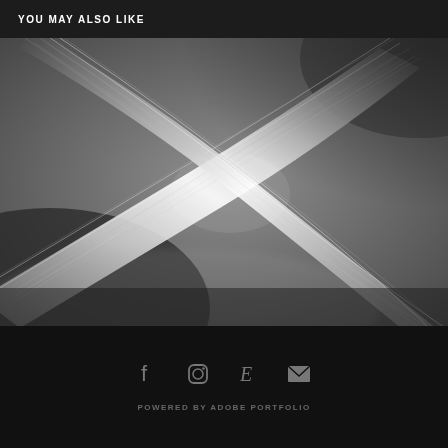YOU MAY ALSO LIKE
[Figure (photo): Close-up black and white photograph of intertwining fiber optic cables or wire strands crossing each other, with dramatic lighting showing fine filaments and textures against a dark grey background.]
f  [Instagram icon]  E  [Email icon]  POWERED BY ADOBE PORTFOLIO